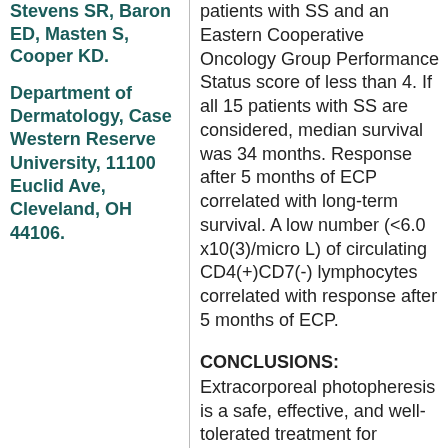Stevens SR, Baron ED, Masten S, Cooper KD.
Department of Dermatology, Case Western Reserve University, 11100 Euclid Ave, Cleveland, OH 44106.
patients with SS and an Eastern Cooperative Oncology Group Performance Status score of less than 4. If all 15 patients with SS are considered, median survival was 34 months. Response after 5 months of ECP correlated with long-term survival. A low number (<6.0 x10(3)/micro L) of circulating CD4(+)CD7(-) lymphocytes correlated with response after 5 months of ECP.
CONCLUSIONS:
Extracorporeal photopheresis is a safe, effective, and well-tolerated treatment for erythrodermic mycosis fungoides and SS. Low numbers of